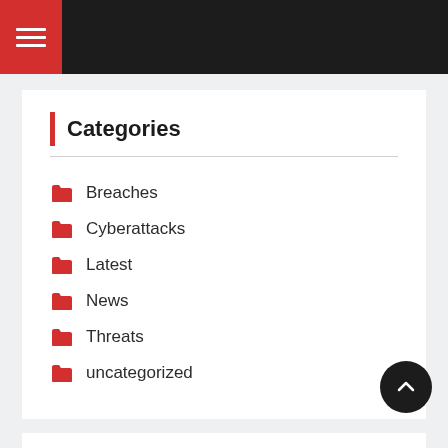Navigation menu bar
Categories
Breaches
Cyberattacks
Latest
News
Threats
uncategorized
Recent Posts